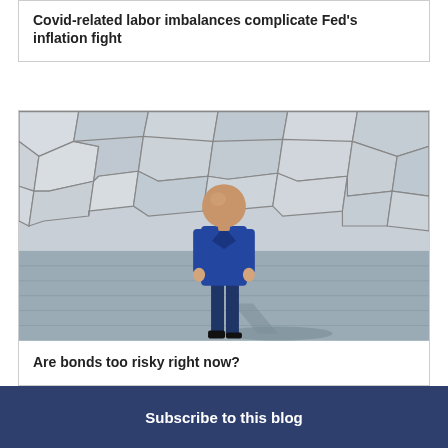Covid-related labor imbalances complicate Fed's inflation fight
[Figure (photo): Man in blue suit standing with back to camera, facing a large stone/concrete mosaic wall, casting a shadow on the ground]
Are bonds too risky right now?
Subscribe to this blog